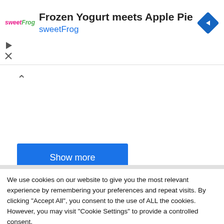[Figure (screenshot): sweetFrog advertisement banner with logo, title 'Frozen Yogurt meets Apple Pie', subtitle 'sweetFrog', and a blue diamond navigation icon]
Show more
← Previous
Next Post
We use cookies on our website to give you the most relevant experience by remembering your preferences and repeat visits. By clicking "Accept All", you consent to the use of ALL the cookies. However, you may visit "Cookie Settings" to provide a controlled consent.
Cookie Settings
Accept All